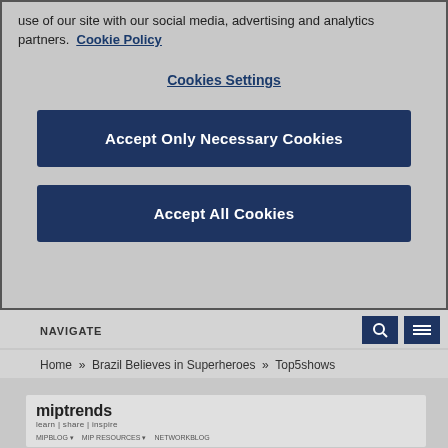use of our site with our social media, advertising and analytics partners. Cookie Policy
Cookies Settings
Accept Only Necessary Cookies
Accept All Cookies
NAVIGATE
Home » Brazil Believes in Superheroes » Top5shows
[Figure (screenshot): miptrends website screenshot showing logo 'miptrends learn | share | inspire' with navigation menu items MIPBLOG, MIP RESOURCES, NETWORKBLOG and tagline about expert analysis of bigger trends in television and digital content]